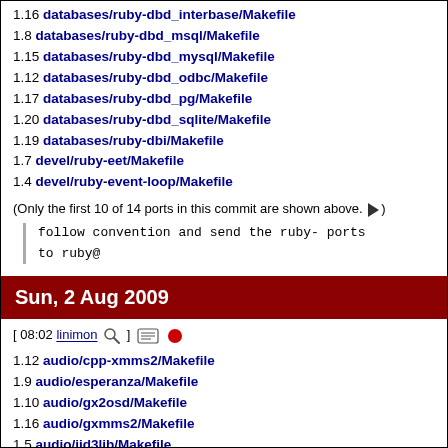1.16 databases/ruby-dbd_interbase/Makefile
1.8 databases/ruby-dbd_msql/Makefile
1.15 databases/ruby-dbd_mysql/Makefile
1.12 databases/ruby-dbd_odbc/Makefile
1.17 databases/ruby-dbd_pg/Makefile
1.20 databases/ruby-dbd_sqlite/Makefile
1.19 databases/ruby-dbi/Makefile
1.7 devel/ruby-eet/Makefile
1.4 devel/ruby-event-loop/Makefile
(Only the first 10 of 14 ports in this commit are shown above. ▶)
follow convention and send the ruby- ports
to ruby@
Sun, 2 Aug 2009
[ 08:02 linimon 🔍 ] 📋 🔴
1.12 audio/cpp-xmms2/Makefile
1.9 audio/esperanza/Makefile
1.10 audio/gx2osd/Makefile
1.16 audio/gxmms2/Makefile
1.5 audio/jid3lib/Makefile
1.13 audio/libofa/Makefile
1.43 audio/libsidplay2/Makefile
1.22 audio/libtunepimp/Makefile